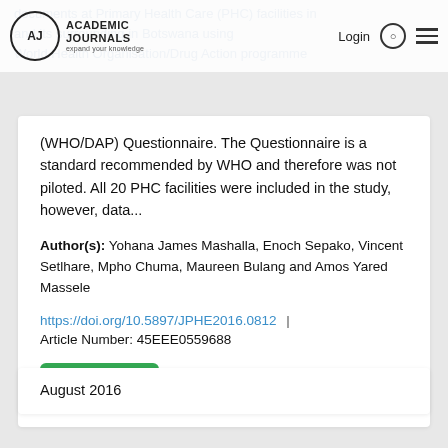documents at Primary Health Care (PHC) facilities in and its surrounding in Botswana using World Health Organisation/Drug Action programme
(WHO/DAP) Questionnaire. The Questionnaire is a standard recommended by WHO and therefore was not piloted. All 20 PHC facilities were included in the study, however, data...
Author(s): Yohana James Mashalla, Enoch Sepako, Vincent Setlhare, Mpho Chuma, Maureen Bulang and Amos Yared Massele
https://doi.org/10.5897/JPHE2016.0812  |  Article Number: 45EEE0559688
Abstract
August 2016